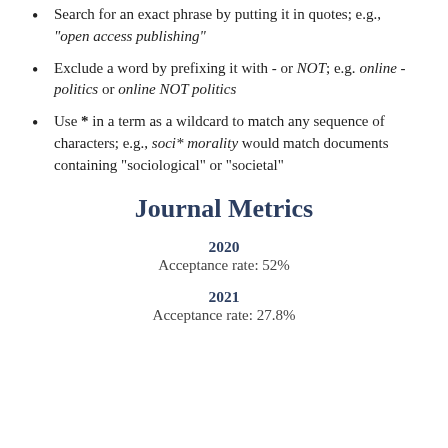Search for an exact phrase by putting it in quotes; e.g., "open access publishing"
Exclude a word by prefixing it with - or NOT; e.g. online - politics or online NOT politics
Use * in a term as a wildcard to match any sequence of characters; e.g., soci* morality would match documents containing "sociological" or "societal"
Journal Metrics
2020
Acceptance rate: 52%
2021
Acceptance rate: 27.8%